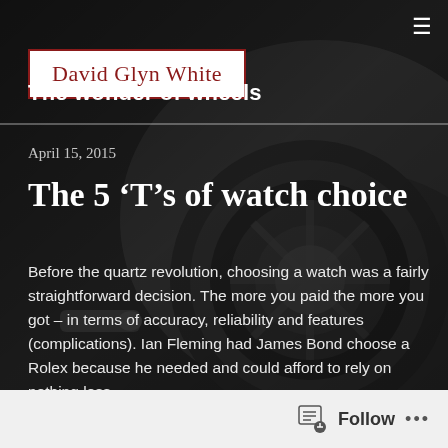David Glyn White
The wonder of wheels
April 15, 2015
The 5 ‘T’s of watch choice
Before the quartz revolution, choosing a watch was a fairly straightforward decision. The more you paid the more you got – in terms of accuracy, reliability and features (complications). Ian Fleming had James Bond choose a Rolex because he needed and could afford to rely on nothing less.
Follow •••